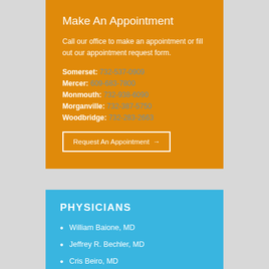Make An Appointment
Call our office to make an appointment or fill out our appointment request form.
Somerset: 732-537-0909
Mercer: 609-683-7800
Monmouth: 732-938-6090
Morganville: 732-387-5750
Woodbridge: 732-283-2663
Request An Appointment →
PHYSICIANS
William Baione, MD
Jeffrey R. Bechler, MD
Cris Beiro, MD